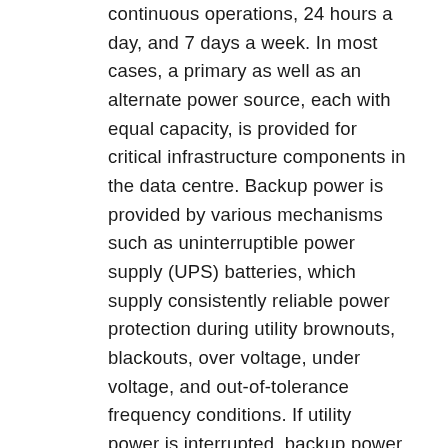continuous operations, 24 hours a day, and 7 days a week. In most cases, a primary as well as an alternate power source, each with equal capacity, is provided for critical infrastructure components in the data centre. Backup power is provided by various mechanisms such as uninterruptible power supply (UPS) batteries, which supply consistently reliable power protection during utility brownouts, blackouts, over voltage, under voltage, and out-of-tolerance frequency conditions. If utility power is interrupted, backup power is designed to provide transitory power to the data centre, at